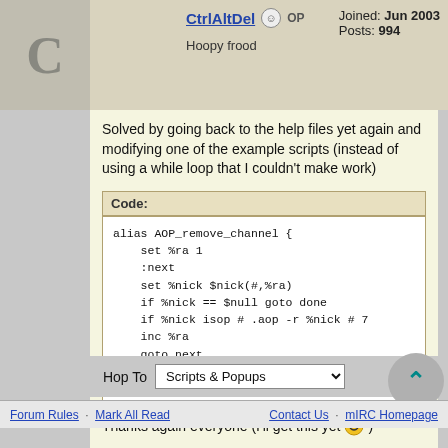CtrlAltDel  OP  Joined: Jun 2003  Posts: 994  Hoopy frood
Solved by going back to the help files yet again and modifying one of the example scripts (instead of using a while loop that I couldn't make work)
Code:
alias AOP_remove_channel {
    set %ra 1
    :next
    set %nick $nick(#,%ra)
    if %nick == $null goto done
    if %nick isop # .aop -r %nick # 7
    inc %ra
    goto next
    :done
}
Thanks again everyone (I'll get this yet 😄 )
Hop To  Scripts & Popups
Forum Rules · Mark All Read    Contact Us · mIRC Homepage